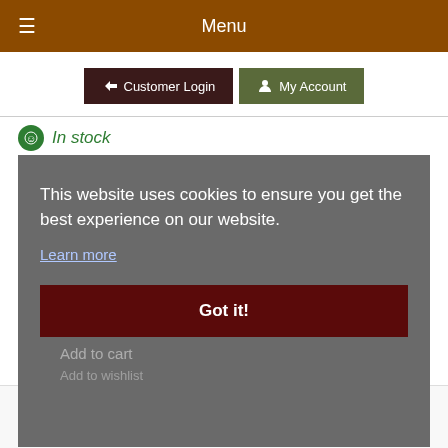Menu
Customer Login  My Account
In stock
This website uses cookies to ensure you get the best experience on our website. Learn more
Got it!
0